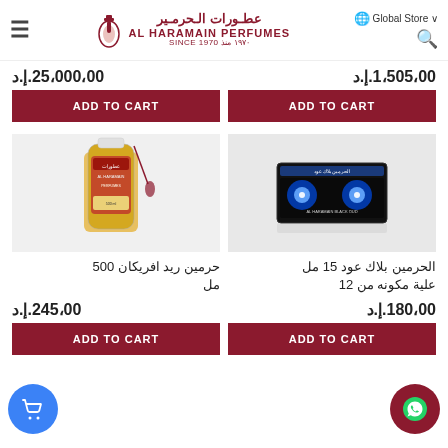Al Haramain Perfumes - Global Store
د.إ.25,000,00
د.إ.1,505,00
ADD TO CART
ADD TO CART
[Figure (photo): Bottle of Al Haramain perfume with red tassel, 500ml]
[Figure (photo): Al Haramain Black Oud 15ml box set of 12]
حرمين ريد افريكان 500 مل
الحرمين بلاك عود 15 مل علية مكونه من 12
د.إ.245,00
د.إ.180,00
ADD TO CART
ADD TO CART